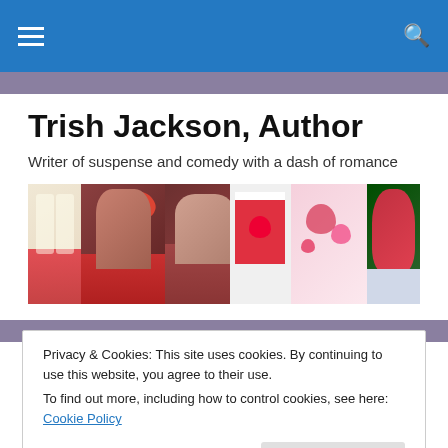Navigation bar with hamburger menu and search icon
Trish Jackson, Author
Writer of suspense and comedy with a dash of romance
[Figure (photo): Collage banner of romantic themed photos: couples, red roses, hearts, gift boxes, and flowers]
Privacy & Cookies: This site uses cookies. By continuing to use this website, you agree to their use.
To find out more, including how to control cookies, see here: Cookie Policy
Close and accept